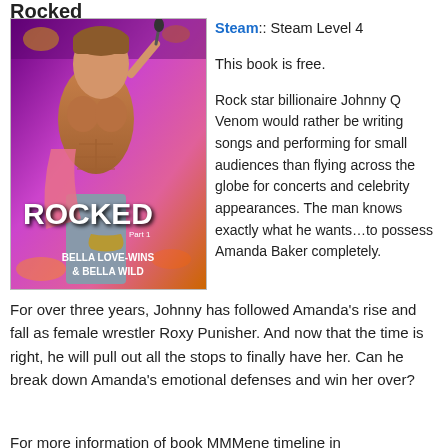Rocked
[Figure (photo): Book cover for 'Rocked Part 1' by Bella Love-Wins & Bella Wild. Shows a shirtless male rock star holding a microphone against a purple/pink concert stage background.]
Steam:: Steam Level 4
This book is free.
Rock star billionaire Johnny Q Venom would rather be writing songs and performing for small audiences than flying across the globe for concerts and celebrity appearances. The man knows exactly what he wants…to possess Amanda Baker completely. For over three years, Johnny has followed Amanda's rise and fall as female wrestler Roxy Punisher. And now that the time is right, he will pull out all the stops to finally have her. Can he break down Amanda's emotional defenses and win her over?
For more information of book MMMene timeline in